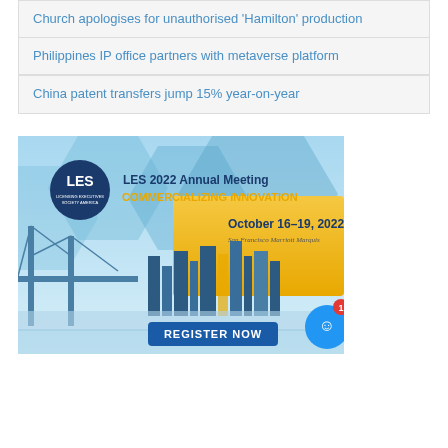Church apologises for unauthorised 'Hamilton' production
Philippines IP office partners with metaverse platform
China patent transfers jump 15% year-on-year
[Figure (illustration): LES 2022 Annual Meeting advertisement banner. Blue hexagonal geometric background with LES logo, text 'LES 2022 Annual Meeting COMMERCIALIZING INNOVATION October 16-19, 2022 San Francisco Marriott Marquis', city skyline with bridge, and a 'REGISTER NOW' button.]